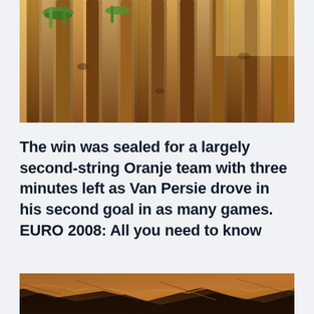[Figure (photo): Close-up photo of wooden fence posts or sticks bundled together, with green ties/rope visible at the top, warm brown tones.]
The win was sealed for a largely second-string Oranje team with three minutes left as Van Persie drove in his second goal in as many games. EURO 2008: All you need to know
[Figure (photo): Aerial or satellite photo of a rocky canyon or mountainous terrain with dark crevices and brown/orange rocky surfaces.]